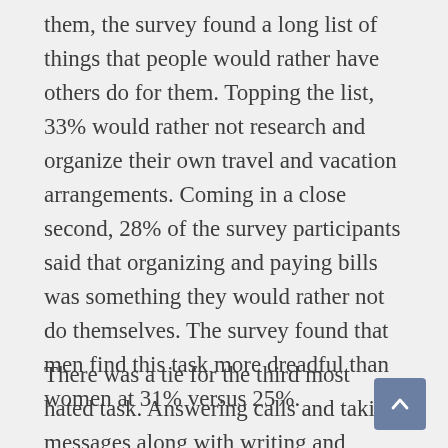them, the survey found a long list of things that people would rather have others do for them. Topping the list, 33% would rather not research and organize their own travel and vacation arrangements. Coming in a close second, 28% of the survey participants said that organizing and paying bills was something they would rather not do themselves. The survey found that men find this task more dreadful than women at 31% versus 25%.
There was a tie for the third most hated task. Answering calls and taking messages along with writing and mailing thank you, holiday, and birthday